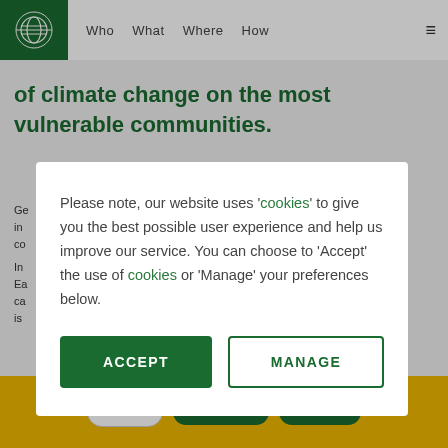Who  What  Where  How
of climate change on the most vulnerable communities.
Go... in... co... In... Ea... ca... is...
Please note, our website uses 'cookies' to give you the best possible user experience and help us improve our service. You can choose to 'Accept' the use of cookies or 'Manage' your preferences below.
ACCEPT   MANAGE
€ value   MONTHLY   SINGLE